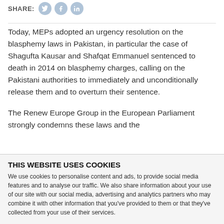SHARE:
Today, MEPs adopted an urgency resolution on the blasphemy laws in Pakistan, in particular the case of Shagufta Kausar and Shafqat Emmanuel sentenced to death in 2014 on blasphemy charges, calling on the Pakistani authorities to immediately and unconditionally release them and to overturn their sentence.
The Renew Europe Group in the European Parliament strongly condemns these laws and the
THIS WEBSITE USES COOKIES
We use cookies to personalise content and ads, to provide social media features and to analyse our traffic. We also share information about your use of our site with our social media, advertising and analytics partners who may combine it with other information that you've provided to them or that they've collected from your use of their services.